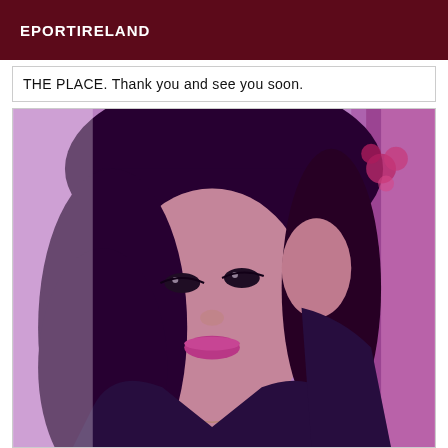EPORTIRELAND
THE PLACE. Thank you and see you soon.
[Figure (photo): A young woman with long dark hair and bangs, wearing a dark jacket, posing with her hand raised near her face. The photo has a purple/pink tinted filter. There are flowers and a window visible in the background.]